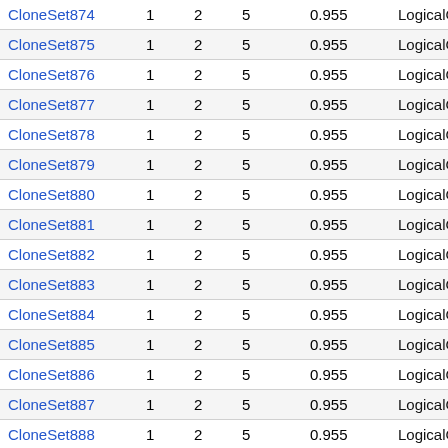| CloneSet874 | 1 | 2 | 5 | 0.955 | LogicalOp |
| CloneSet875 | 1 | 2 | 5 | 0.955 | LogicalOp |
| CloneSet876 | 1 | 2 | 5 | 0.955 | LogicalOp |
| CloneSet877 | 1 | 2 | 5 | 0.955 | LogicalOp |
| CloneSet878 | 1 | 2 | 5 | 0.955 | LogicalOp |
| CloneSet879 | 1 | 2 | 5 | 0.955 | LogicalOp |
| CloneSet880 | 1 | 2 | 5 | 0.955 | LogicalOp |
| CloneSet881 | 1 | 2 | 5 | 0.955 | LogicalOp |
| CloneSet882 | 1 | 2 | 5 | 0.955 | LogicalOp |
| CloneSet883 | 1 | 2 | 5 | 0.955 | LogicalOp |
| CloneSet884 | 1 | 2 | 5 | 0.955 | LogicalOp |
| CloneSet885 | 1 | 2 | 5 | 0.955 | LogicalOp |
| CloneSet886 | 1 | 2 | 5 | 0.955 | LogicalOp |
| CloneSet887 | 1 | 2 | 5 | 0.955 | LogicalOp |
| CloneSet888 | 1 | 2 | 5 | 0.955 | LogicalOp |
| CloneSet889 | 1 | 2 | 5 | 0.955 | LogicalOp |
| CloneSet890 | 1 | 2 | 5 | 0.955 | LogicalOp |
| CloneSet891 | 1 | 2 | 5 | 0.955 | LogicalOp |
| CloneSet892 | 1 | 2 | 5 | 0.955 | LogicalOp |
| CloneSet893 | 1 | 2 | 5 | 0.955 | LogicalOp |
| CloneSet894 | 1 | 2 | 5 | 0.955 | LogicalOp |
| CloneSet895 | 1 | 2 | 5 | 0.955 | LogicalOp |
| CloneSet896 | 1 | 2 | 5 | 0.955 | LogicalOp |